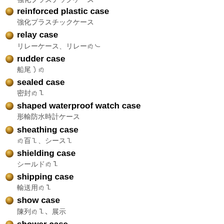reinforced plastic case
relay case
rudder case
sealed case
shaped waterproof watch case
sheathing case
shielding case
shipping case
show case
shower case
slide valve case